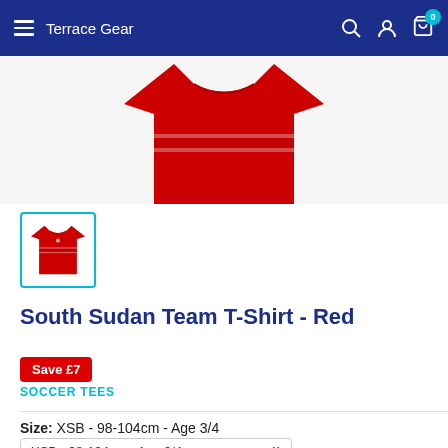Terrace Gear
[Figure (photo): Red South Sudan team t-shirt displayed against white background, showing the front of a red short-sleeved t-shirt]
[Figure (photo): Small thumbnail of red South Sudan team t-shirt with cyan/teal border selected state]
South Sudan Team T-Shirt - Red
Save £7
SOCCER TEES
Size: XSB - 98-104cm - Age 3/4
XSB - 98-104cm - Age 3/4